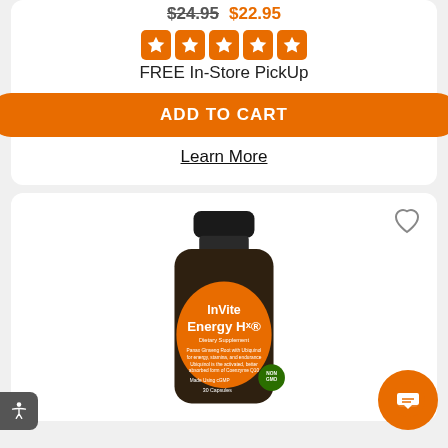$24.95 $22.95
[Figure (other): Five orange star rating icons in rounded square style]
FREE In-Store PickUp
ADD TO CART
Learn More
[Figure (photo): InVite Energy Hx dietary supplement bottle with orange label on dark brown bottle, showing Panax Ginseng Root with Ubiquinol for energy, stamina and endurance. Made using cGMP, Non-GMO. 30 Capsules.]